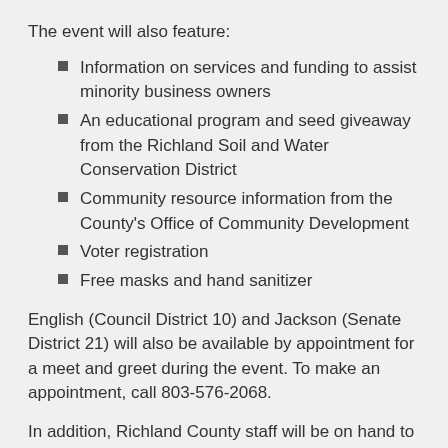The event will also feature:
Information on services and funding to assist minority business owners
An educational program and seed giveaway from the Richland Soil and Water Conservation District
Community resource information from the County's Office of Community Development
Voter registration
Free masks and hand sanitizer
English (Council District 10) and Jackson (Senate District 21) will also be available by appointment for a meet and greet during the event. To make an appointment, call 803-576-2068.
In addition, Richland County staff will be on hand to speak about upcoming zoning changes with the rewritten Land Development Code and about proposed redistricting. Residents can view the newly drawn maps and ask questions about both processes. Staff with Richland County Public Safety, Lower Richland Community Crime Watch and Richland Library will also take part.